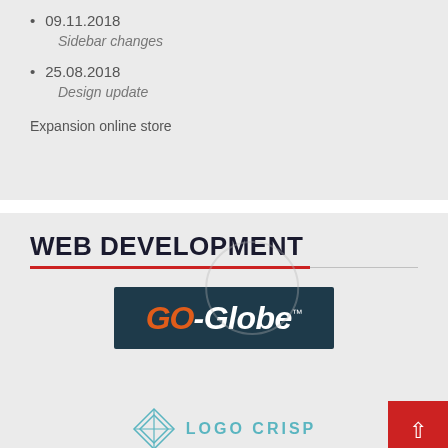09.11.2018
Sidebar changes
25.08.2018
Design update
Expansion online store
WEB DEVELOPMENT
[Figure (logo): GO-Globe logo: dark teal background with 'GO' in orange italic bold and '-Globe' in white italic bold with TM mark]
[Figure (logo): Logo Crisp: geometric diamond/globe wireframe icon in teal with 'LOGO CRISP' text in teal to the right]